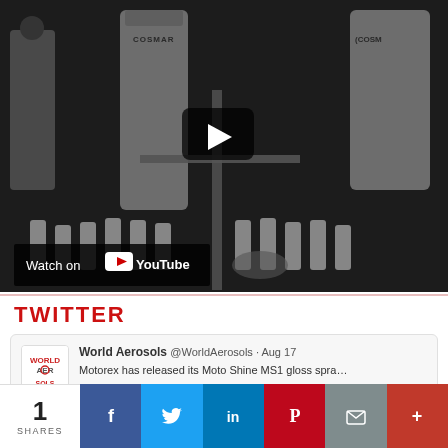[Figure (screenshot): YouTube video embed showing industrial aerosol filling machinery (COSMAR equipment) with a play button overlay and 'Watch on YouTube' label at the bottom left.]
TWITTER
World Aerosols @WorldAerosols · Aug 17
Motorex has released its Moto Shine MS1 gloss spra…
1
SHARES